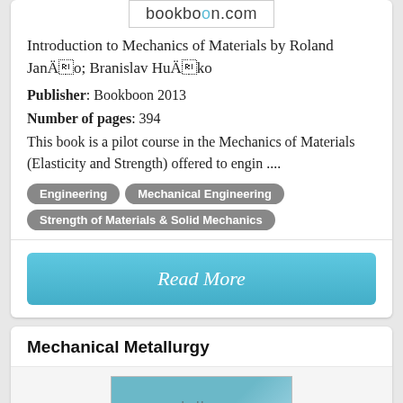[Figure (logo): bookboon.com logo in a bordered box]
Introduction to Mechanics of Materials by Roland Janečko; Branislav Hučko
Publisher: Bookboon 2013
Number of pages: 394
This book is a pilot course in the Mechanics of Materials (Elasticity and Strength) offered to engin ....
Engineering
Mechanical Engineering
Strength of Materials & Solid Mechanics
Read More
Mechanical Metallurgy
[Figure (photo): Photo of a book cover for Mechanical Metallurgy on bookboon.com]